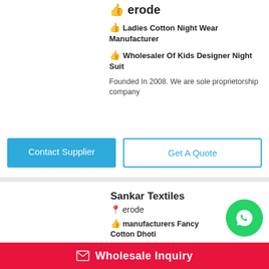👍 Ladies Cotton Night Wear Manufacturer
👍 Wholesaler Of Kids Designer Night Suit
Founded In 2008. We are sole proprietorship company
Contact Supplier
Get A Quote
Sankar Textiles
📍 erode
👍 manufacturers Fancy Cotton Dhoti
👍 Men Cotton Dhoti De...
We are Sankar Textiles Manufacturer of south cotton
✉ Wholesale Inquiry